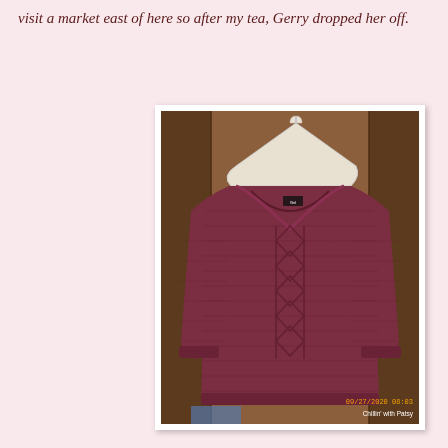visit a market east of here so after my tea, Gerry dropped her off.
[Figure (photo): A dark red/maroon cable-knit sweater hanging on a white plastic hanger in front of a wooden closet door. The sweater has a v-neck opening, raglan sleeves, and a diamond cable pattern down the front. A timestamp '09/27/2020 08:03' and watermark 'Chillin' with Patsy' appear in the lower right corner.]